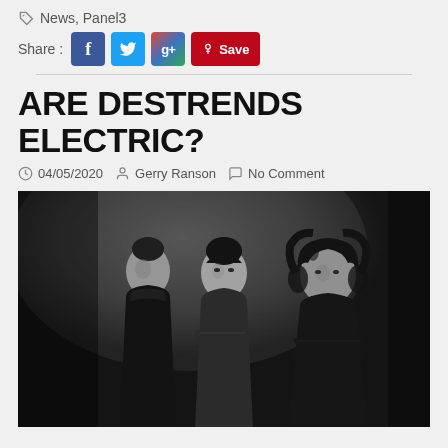News, Panel3
Share : [Facebook] [Twitter] [Google+] [Pinterest Save]
ARE DESTRENDS ELECTRIC?
04/05/2020  Gerry Ranson  No Comment
[Figure (photo): Black and white photograph of three men in dark turtleneck sweaters, standing against a white brick wall with dramatic lighting. The person on the left is tall and lean, the person in the middle has crossed arms, and the person on the right has curly hair.]